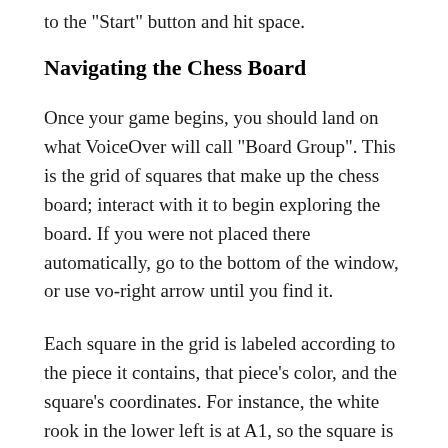to the "Start" button and hit space.
Navigating the Chess Board
Once your game begins, you should land on what VoiceOver will call "Board Group". This is the grid of squares that make up the chess board; interact with it to begin exploring the board. If you were not placed there automatically, go to the bottom of the window, or use vo-right arrow until you find it.
Each square in the grid is labeled according to the piece it contains, that piece's color, and the square's coordinates. For instance, the white rook in the lower left is at A1, so the square is labeled as "White Rook, A1 button". Each square is a button, because that is how you move pieces (more on that in a moment).